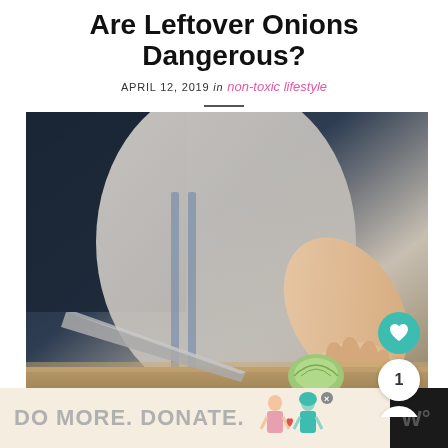Are Leftover Onions Dangerous?
APRIL 12, 2019 in non-toxic lifestyle
[Figure (photo): Person in a striped apron cutting an onion on a wooden cutting board with a large knife, dark background]
[Figure (infographic): Advertisement banner: DO MORE. DONATE. with illustrated figures of two women and a close button]